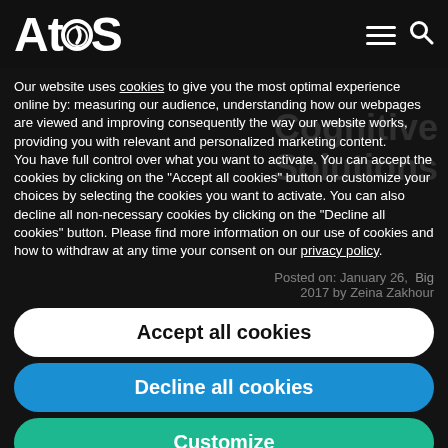[Figure (logo): Atos company logo in white on dark background, with hamburger menu and search icon]
Our website uses cookies to give you the most optimal experience online by: measuring our audience, understanding how our webpages are viewed and improving consequently the way our website works, providing you with relevant and personalized marketing content.
You have full control over what you want to activate. You can accept the cookies by clicking on the "Accept all cookies" button or customize your choices by selecting the cookies you want to activate. You can also decline all non-necessary cookies by clicking on the "Decline all cookies" button. Please find more information on our use of cookies and how to withdraw at any time your consent on our privacy policy.
Posted on: January 26, 2017 by Zeina Zakhour Big
Accept all cookies
Decline all cookies
Customize
Privacy policy
optimised for users as well as managed efficiently and